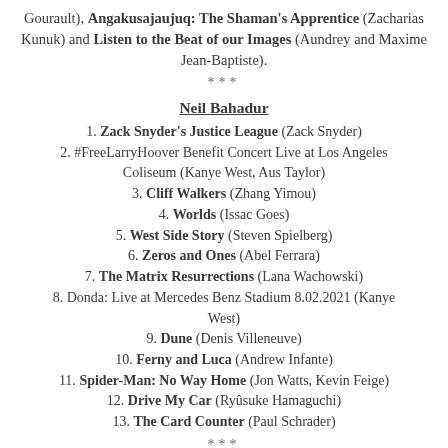Gourault), Angakusajaujuq: The Shaman's Apprentice (Zacharias Kunuk) and Listen to the Beat of our Images (Aundrey and Maxime Jean-Baptiste).
***
Neil Bahadur
1. Zack Snyder's Justice League (Zack Snyder)
2. #FreeLarryHoover Benefit Concert Live at Los Angeles Coliseum (Kanye West, Aus Taylor)
3. Cliff Walkers (Zhang Yimou)
4. Worlds (Issac Goes)
5. West Side Story (Steven Spielberg)
6. Zeros and Ones (Abel Ferrara)
7. The Matrix Resurrections (Lana Wachowski)
8. Donda: Live at Mercedes Benz Stadium 8.02.2021 (Kanye West)
9. Dune (Denis Villeneuve)
10. Ferny and Luca (Andrew Infante)
11. Spider-Man: No Way Home (Jon Watts, Kevin Feige)
12. Drive My Car (Ryûsuke Hamaguchi)
13. The Card Counter (Paul Schrader)
***